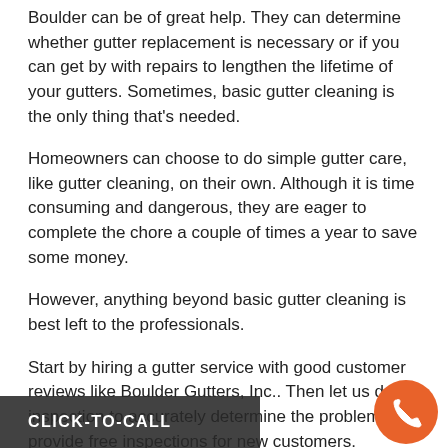Boulder can be of great help. They can determine whether gutter replacement is necessary or if you can get by with repairs to lengthen the lifetime of your gutters. Sometimes, basic gutter cleaning is the only thing that's needed.
Homeowners can choose to do simple gutter care, like gutter cleaning, on their own. Although it is time consuming and dangerous, they are eager to complete the chore a couple of times a year to save some money.
However, anything beyond basic gutter cleaning is best left to the professionals.
Start by hiring a gutter service with good customer reviews like Boulder Gutters, Inc.. Then let us do an inspection to accurately determine the problem. We provide free inspections for new customers.
[Figure (other): Click-to-call button overlay with dark background label 'CLICK-TO-CALL' and orange circular phone icon button at bottom right]